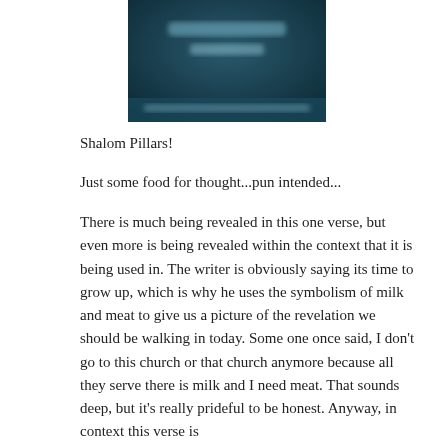[Figure (photo): A blurred dark blue/teal image with blurred white text, likely a social media post or blog header image. The text is illegible due to blur.]
Shalom Pillars!
Just some food for thought...pun intended...
There is much being revealed in this one verse, but even more is being revealed within the context that it is being used in. The writer is obviously saying its time to grow up, which is why he uses the symbolism of milk and meat to give us a picture of the revelation we should be walking in today. Some one once said, I don't go to this church or that church anymore because all they serve there is milk and I need meat. That sounds deep, but it's really prideful to be honest. Anyway, in context this verse is